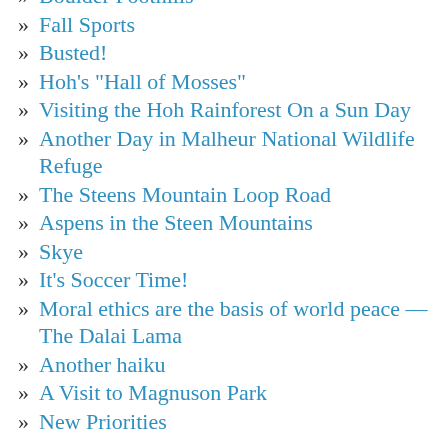Boulder Foothills
Fall Sports
Busted!
Hoh's "Hall of Mosses"
Visiting the Hoh Rainforest On a Sun Day
Another Day in Malheur National Wildlife Refuge
The Steens Mountain Loop Road
Aspens in the Steen Mountains
Skye
It's Soccer Time!
Moral ethics are the basis of world peace — The Dalai Lama
Another haiku
A Visit to Magnuson Park
New Priorities